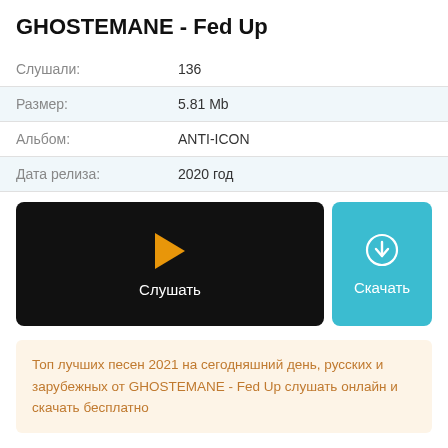GHOSTEMANE - Fed Up
| Слушали: | 136 |
| Размер: | 5.81 Mb |
| Альбом: | ANTI-ICON |
| Дата релиза: | 2020 год |
[Figure (infographic): Music player bar with play button (orange triangle) and label 'Слушать', alongside a teal download button with download icon and label 'Скачать']
Топ лучших песен 2021 на сегодняшний день, русских и зарубежных от GHOSTEMANE - Fed Up слушать онлайн и скачать бесплатно
Клип на песню